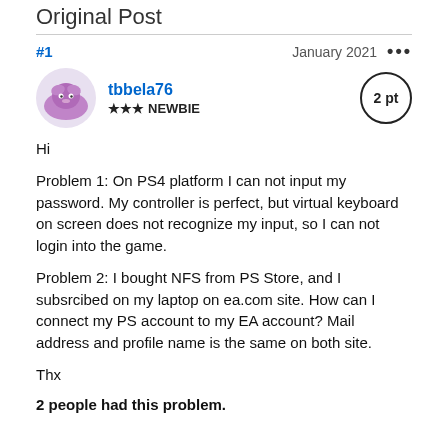Original Post
#1   January 2021   •••
tbbela76  ★★★ NEWBIE   2 pt
Hi
Problem 1: On PS4 platform I can not input my password. My controller is perfect, but virtual keyboard on screen does not recognize my input, so I can not login into the game.

Problem 2: I bought NFS from PS Store, and I subsrcibed on my laptop on ea.com site. How can I connect my PS account to my EA account? Mail address and profile name is the same on both site.

Thx
2 people had this problem.